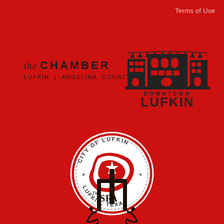Terms of Use
[Figure (logo): The Chamber Lufkin | Angelina County logo in dark text on red background]
[Figure (logo): Downtown Lufkin logo with building silhouette in dark on red background]
[Figure (logo): City of Lufkin, Lufkin Texas circular seal with white circle and red curved flag/letter L with star]
[Figure (logo): The SFA (Stephen F. Austin) or similar decorative dark logo at bottom, partially visible]